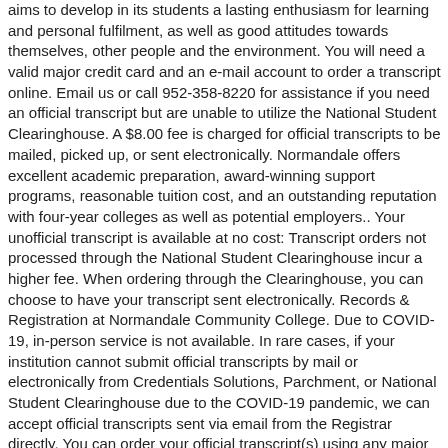aims to develop in its students a lasting enthusiasm for learning and personal fulfilment, as well as good attitudes towards themselves, other people and the environment. You will need a valid major credit card and an e-mail account to order a transcript online. Email us or call 952-358-8220 for assistance if you need an official transcript but are unable to utilize the National Student Clearinghouse. A $8.00 fee is charged for official transcripts to be mailed, picked up, or sent electronically. Normandale offers excellent academic preparation, award-winning support programs, reasonable tuition cost, and an outstanding reputation with four-year colleges as well as potential employers.. Your unofficial transcript is available at no cost: Transcript orders not processed through the National Student Clearinghouse incur a higher fee. When ordering through the Clearinghouse, you can choose to have your transcript sent electronically. Records & Registration at Normandale Community College. Due to COVID-19, in-person service is not available. In rare cases, if your institution cannot submit official transcripts by mail or electronically from Credentials Solutions, Parchment, or National Student Clearinghouse due to the COVID-19 pandemic, we can accept official transcripts sent via email from the Registrar directly. You can order your official transcript(s) using any major credit or debit card. You can request either an official transcript that is delivered electronically or a paper transcript that is sent by mail. December 27, 2020. However, submitting a transcript request is not always simple, and it can determine your future.